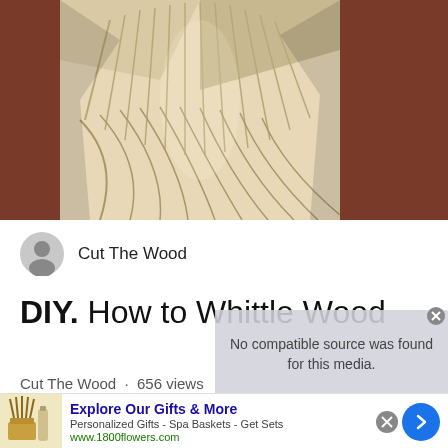[Figure (photo): Close-up photo of a wood carving showing detailed carved grooves and texture of a figure, pale/natural wood color with dark reddish-brown background]
Cut The Wood
DIY. How to Whittle Wood
Cut The Wood · 656 views
No compatible source was found for this media.
[Figure (screenshot): Advertisement banner: Explore Our Gifts & More - Personalized Gifts - Spa Baskets - Get Sets - www.1800flowers.com]